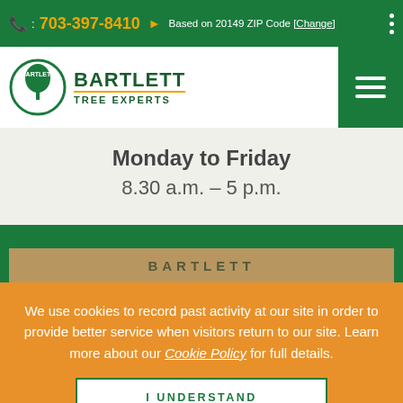: 703-397-8410 Based on 20149 ZIP Code [Change]
[Figure (logo): Bartlett Tree Experts logo with circular emblem and green text]
Monday to Friday
8.30 a.m. – 5 p.m.
[Figure (photo): Bartlett Tree Experts truck/service photo banner]
We use cookies to record past activity at our site in order to provide better service when visitors return to our site. Learn more about our Cookie Policy for full details.
I UNDERSTAND